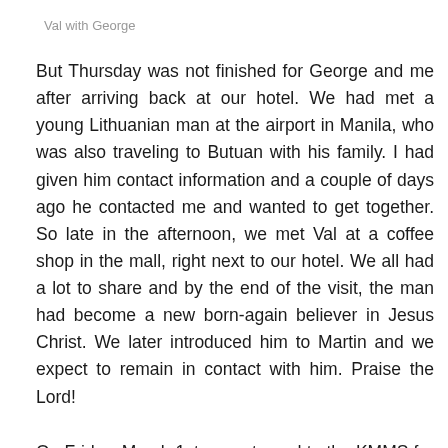Val with George
But Thursday was not finished for George and me after arriving back at our hotel. We had met a young Lithuanian man at the airport in Manila, who was also traveling to Butuan with his family. I had given him contact information and a couple of days ago he contacted me and wanted to get together. So late in the afternoon, we met Val at a coffee shop in the mall, right next to our hotel. We all had a lot to share and by the end of the visit, the man had become a new born-again believer in Jesus Christ. We later introduced him to Martin and we expect to remain in contact with him. Praise the Lord!
On Friday, March 1st, we returned to the KMMS for our final visit. We met with the teachers and informed them that we will be going back to all day classes for all